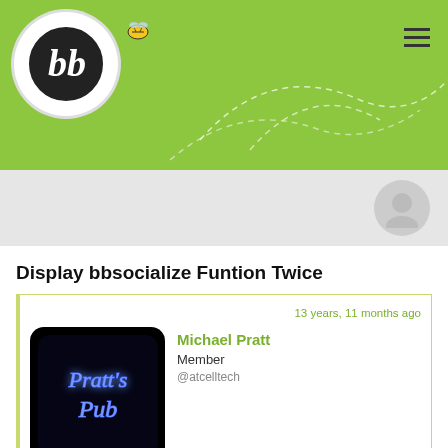bbPress forum header with logo and menu icon
Display bbsocialize Funtion Twice
13 years, 11 months ago
Michael Pratt
Member
@atcelltech
Hi,

I can not figure out what is causing one function in a plugin I am trying to make (modify) to cancel out another function from the same plugin on the same page.

OK, did that make sense.

Here are my examples.